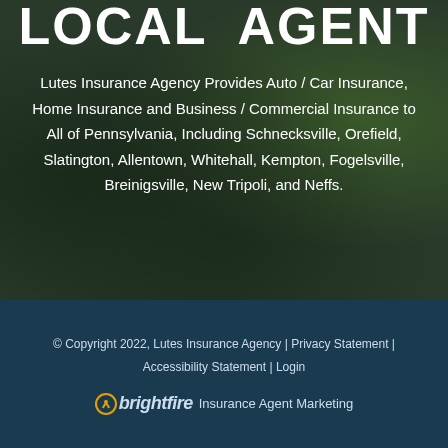LOCAL AGENT
Lutes Insurance Agency Provides Auto / Car Insurance, Home Insurance and Business / Commercial Insurance to All of Pennsylvania, Including Schnecksville, Orefield, Slatington, Allentown, Whitehall, Kempton, Fogelsville, Breinigsville, New Tripoli, and Neffs.
© Copyright 2022, Lutes Insurance Agency | Privacy Statement | Accessibility Statement | Login
brightfire Insurance Agent Marketing